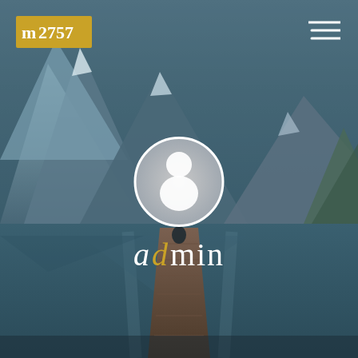[Figure (illustration): Background photo of a mountain lake with a wooden dock/pier extending toward the water, mountains in the background, misty atmosphere, dark teal/blue tones with a figure sitting at the end of the dock. Serves as full-page background.]
m2757
[Figure (other): Hamburger menu icon (three horizontal white lines) in the top right corner]
[Figure (other): Circular gray avatar/profile placeholder icon with white silhouette of a person]
admin